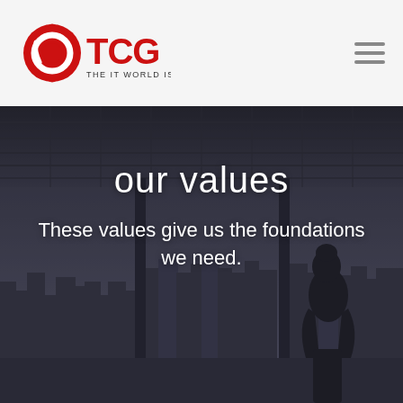[Figure (logo): TCG logo — red circular globe icon with white O shape inside, bold red letters TCG, tagline THE IT WORLD IS YOURS below in dark text]
our values
These values give us the foundations we need.
[Figure (photo): Monochrome/dark-tinted background photo of a person silhouetted against a floor-to-ceiling window overlooking a city skyline with tall buildings, viewed from a high-rise interior with ceiling structure visible at top]